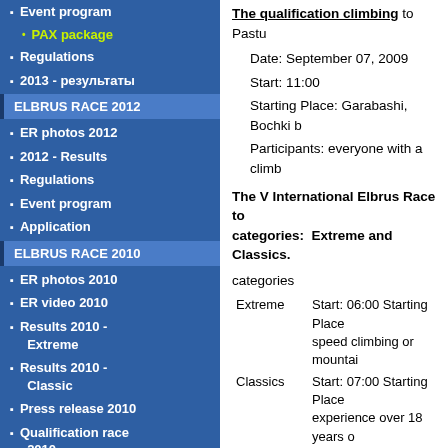Event program
PAX package
Regulations
2013 - результаты
ELBRUS RACE 2012
ER photos 2012
2012 - Results
Regulations
Event program
Application
ELBRUS RACE 2010
ER photos 2010
ER video 2010
Results 2010 - Extreme
Results 2010 - Classic
Press release 2010
Qualification race 2010
Participants 2010
Regulations
Sponsor 2010
Partner 2010
ELBRUS RACE 2009
The qualification climbing to Pasto...
Date: September 07, 2009
Start: 11:00
Starting Place: Garabashi, Bochki b...
Participants: everyone with a climb...
The V International Elbrus Race to... categories: Extreme and Classics...
categories
|  |  |
| --- | --- |
| Extreme | Start: 06:00 Starting Place... speed climbing or mountain... |
| Classics | Start: 07:00 Starting Place... experience over 18 years o... those who have an wide c... |
| Tourism* | Start: 04:30-05:00 Starting... climbing experience over 1... 02hrs50min of ascent or w... |
*Climbing in «Tourism» class provide... during qualification race in period 2 h... provide 1-2 Mountain Guides for addr...
In case of nasty weather on the day o... September 10th. The participants sha...